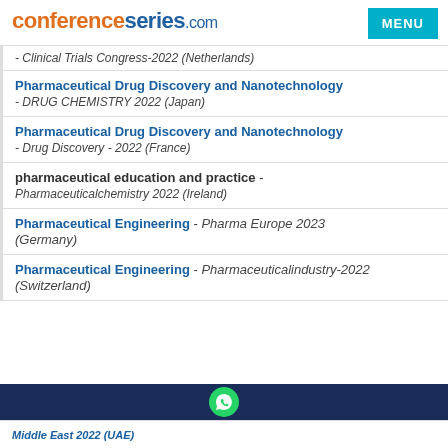conferenceseries.com | MENU
- Clinical Trials Congress-2022 (Netherlands)
Pharmaceutical Drug Discovery and Nanotechnology - DRUG CHEMISTRY 2022 (Japan)
Pharmaceutical Drug Discovery and Nanotechnology - Drug Discovery - 2022 (France)
pharmaceutical education and practice - Pharmaceuticalchemistry 2022 (Ireland)
Pharmaceutical Engineering - Pharma Europe 2023 (Germany)
Pharmaceutical Engineering - Pharmaceuticalindustry-2022 (Switzerland)
Middle East 2022 (UAE)